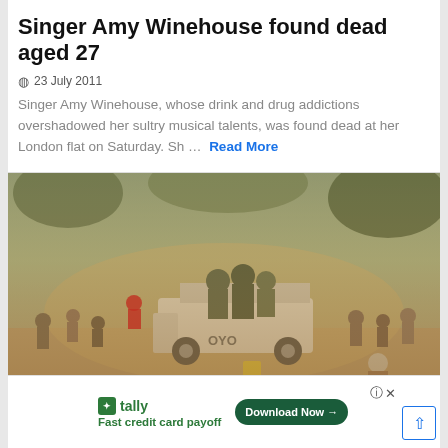Singer Amy Winehouse found dead aged 27
23 July 2011
Singer Amy Winehouse, whose drink and drug addictions overshadowed her sultry musical talents, was found dead at her London flat on Saturday. Sh … Read More
[Figure (photo): Photograph of soldiers on a truck bed amid a crowd of people in a dusty outdoor scene, resembling a riot or civil unrest situation.]
LETTERS TO EDITOR
Ma riot id
[Figure (infographic): Advertisement banner: Tally app logo with text 'Fast credit card payoff' and a 'Download Now' button on dark green rounded rectangle. Help and close icons visible.]